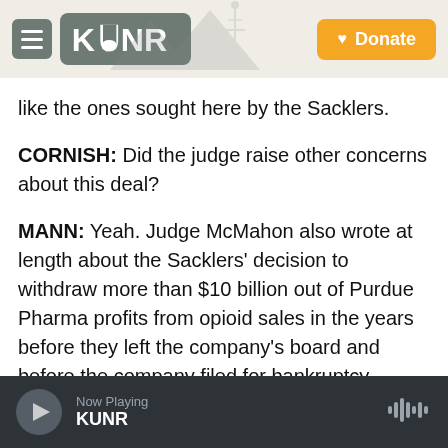KUNR - Donate
like the ones sought here by the Sacklers.
CORNISH: Did the judge raise other concerns about this deal?
MANN: Yeah. Judge McMahon also wrote at length about the Sacklers' decision to withdraw more than $10 billion out of Purdue Pharma profits from opioid sales in the years before they left the company's board and before the company filed for bankruptcy. McMahon doesn't base her ruling here on that behavior, but during hearings over the past couple weeks, she signaled she had concerns about whether that activity was appropriate. The
Now Playing KUNR